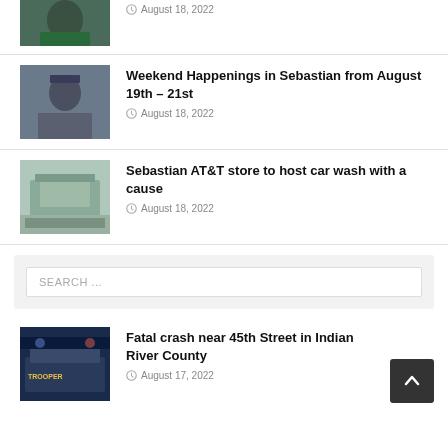[Figure (photo): Partial photo of a person at top of page]
August 18, 2022
[Figure (photo): Photo of a man speaking into a microphone]
Weekend Happenings in Sebastian from August 19th – 21st
August 18, 2022
[Figure (photo): Photo of an AT&T store building]
Sebastian AT&T store to host car wash with a cause
August 18, 2022
SEARCH ...
[Figure (photo): Photo of a police trooper car at night]
Fatal crash near 45th Street in Indian River County
August 17, 2022